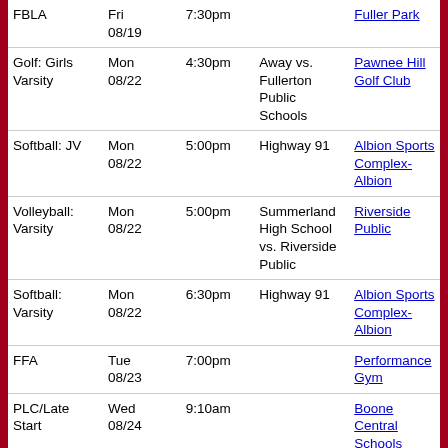| Event | Date | Time | Location | Link |
| --- | --- | --- | --- | --- |
| FBLA | Fri 08/19 | 7:30pm |  | Fuller Park |
| Golf: Girls Varsity | Mon 08/22 | 4:30pm | Away vs. Fullerton Public Schools | Pawnee Hill Golf Club |
| Softball: JV | Mon 08/22 | 5:00pm | Highway 91 | Albion Sports Complex-Albion |
| Volleyball: Varsity | Mon 08/22 | 5:00pm | Summerland High School vs. Riverside Public | Riverside Public |
| Softball: Varsity | Mon 08/22 | 6:30pm | Highway 91 | Albion Sports Complex-Albion |
| FFA | Tue 08/23 | 7:00pm |  | Performance Gym |
| PLC/Late Start | Wed 08/24 | 9:10am |  | Boone Central Schools |
| Softball: Varsity | Thu | 4:30pm | Schuyler vs. | Cross... |